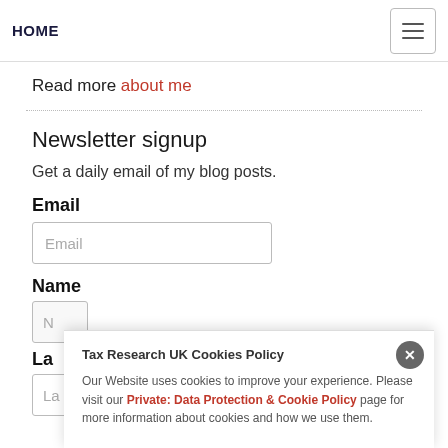HOME
Read more about me
Newsletter signup
Get a daily email of my blog posts.
Email
Name
La
Tax Research UK Cookies Policy
Our Website uses cookies to improve your experience. Please visit our Private: Data Protection & Cookie Policy page for more information about cookies and how we use them.